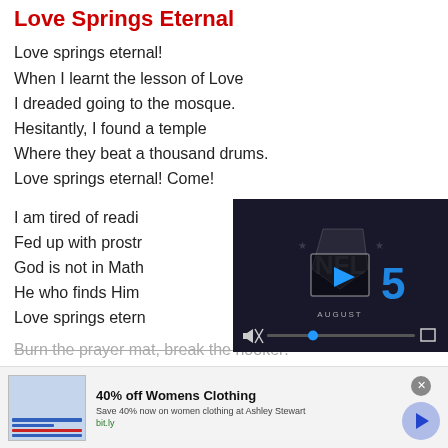Love Springs Eternal
Love springs eternal!
When I learnt the lesson of Love
I dreaded going to the mosque.
Hesitantly, I found a temple
Where they beat a thousand drums.
Love springs eternal! Come!
I am tired of readi...
Fed up with prostr...
God is not in Math...
He who finds Him...
Love springs etern...
[Figure (screenshot): Embedded video player overlay showing 'THIS DAY IN HISTORY' with NFL branding, a play button, 'AUGUST' label, progress bar with mute icon and fullscreen button]
Burn the prayer mat, break the hooker!
[Figure (other): Advertisement banner: 40% off Womens Clothing - Save 40% now on women clothing at Ashley Stewart - bit.ly]